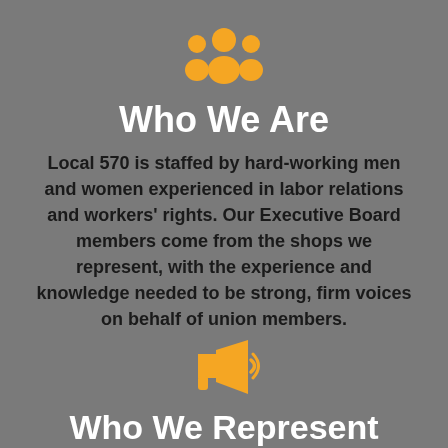[Figure (illustration): Golden/amber colored icon of a group of three people (community/group symbol)]
Who We Are
Local 570 is staffed by hard-working men and women experienced in labor relations and workers' rights. Our Executive Board members come from the shops we represent, with the experience and knowledge needed to be strong, firm voices on behalf of union members.
[Figure (illustration): Golden/amber colored megaphone/bullhorn icon]
Who We Represent